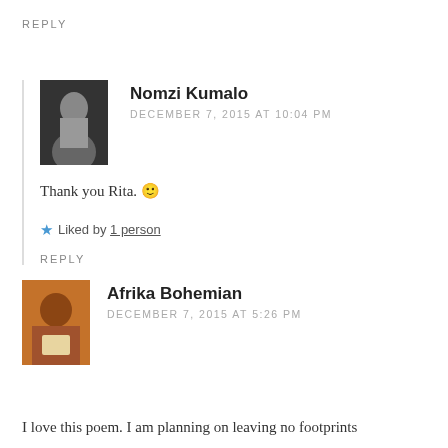REPLY
Nomzi Kumalo
DECEMBER 7, 2015 AT 10:04 PM
[Figure (photo): Black and white avatar photo of Nomzi Kumalo]
Thank you Rita. 🙂
★ Liked by 1 person
REPLY
Afrika Bohemian
DECEMBER 7, 2015 AT 5:26 PM
[Figure (photo): Color photo of Afrika Bohemian reading]
I love this poem. I am planning on leaving no footprints